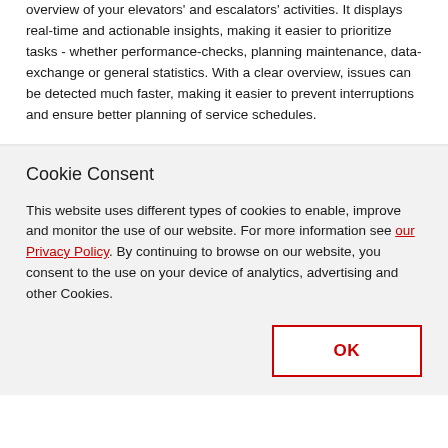overview of your elevators' and escalators' activities. It displays real-time and actionable insights, making it easier to prioritize tasks - whether performance-checks, planning maintenance, data-exchange or general statistics. With a clear overview, issues can be detected much faster, making it easier to prevent interruptions and ensure better planning of service schedules.
Cookie Consent
This website uses different types of cookies to enable, improve and monitor the use of our website. For more information see our Privacy Policy. By continuing to browse on our website, you consent to the use on your device of analytics, advertising and other Cookies.